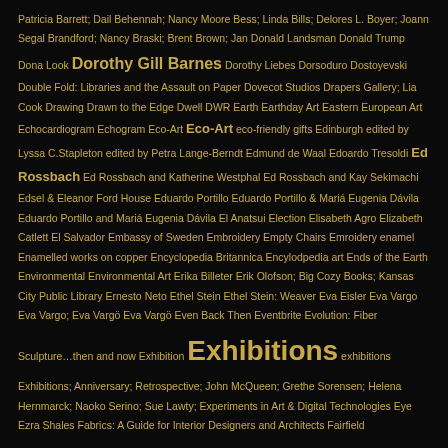Patricia Barrett; Dail Behennah; Nancy Moore Bess; Linda Bills; Delores L. Boyer; Joann Segal Brandford; Nancy Braski; Brent Brown; Jan Donald Landsman Donald Trump Dona Look Dorothy Gill Barnes Dorothy Liebes Dorsoduro Dostoyevski Double Fold: Libraries and the Assault on Paper Dovecot Studios Drapers Gallery; Lia Cook Drawing Drawn to the Edge Dwell DWR Earth Earthday Art Eastern European Art Echocardiogram Echogram Eco-Art Eco-Art eco-friendly gifts Edinburgh edited by Lyssa C.Stapleton edited by Petra Lange-Berndt Edmund de Waal Edoardo Tresoldi Ed Rossbach Ed Rossbach and Katherine Westphal Ed Rossbach and Kay Sekimachi Edsel & Eleanor Ford House Eduardo Portillo Eduardo Portillo & Mariá Eugenia Dávila Eduardo Portillo and Mariá Eugenia Dávila El Anatsui Election Elisabeth Agro Elizabeth Catlett El Salvador Embassy of Sweden Embroidery Empty Chairs Emroidery enamel Enamelled works on copper Encyclopedia Britannica Encylodpedia art Ends of the Earth Environmental Environmental Art Erika Billeter Erik Olofson; Big Cozy Books; Kansas City Public Library Ernesto Neto Ethel Stein Ethel Stein: Weaver Eva Eisler Eva Vargo Eva Vargo; Eva Vargö Eva Vargö Even Back Then Eventbrite Evolution: Fiber Sculpture…then and now Exhibition Exhibitions exhibitions Exhibitions; Anniversary; Retrospective; John McQueen; Grethe Sorensen; Helena Hernmarck; Naoko Serino; Sue Lawty; Experiments in Art & Digital Technologies Eye Ezra Shales Fabrics: A Guide for Interior Designers and Architects Fairfield